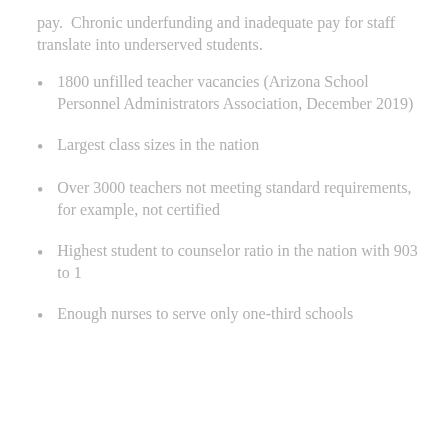pay.  Chronic underfunding and inadequate pay for staff translate into underserved students.
1800 unfilled teacher vacancies (Arizona School Personnel Administrators Association, December 2019)
Largest class sizes in the nation
Over 3000 teachers not meeting standard requirements, for example, not certified
Highest student to counselor ratio in the nation with 903 to 1
Enough nurses to serve only one-third schools